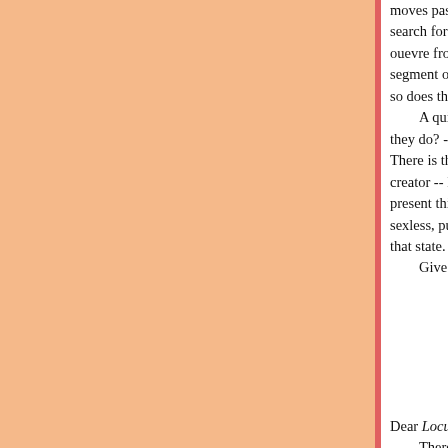moves past that search for God (after th search for fulfillment. A bittersweet film, ouevre from Duel to E.T. to Hook to this segment of the film to tell his story. As th so does the story, until its final moment. A quick observation: Why do the robo they do? -- Look to the film. Look to the There is the idealized version of perfect creator -- Bill Hurt's character. The comp present this universal image (seen seve sexless, pure humanity. Of course, the r that state. Give the screenwriter/director credit.
Dear Locus Online, There is sufficient textual clues throu beings at the end of the film clear to any The robots at the end of the film are corporate logo of the robot company. So made by Spielberg and Co. When David first appears in the smo and the later appearance of the robots. Gigolo Joe gives a speech at Dr. Kno that remain after humanity is gone. He i The robots refer to David as having k they did not view themselves as 'living b